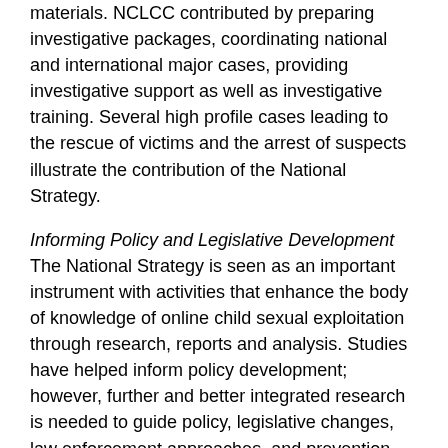materials. NCLCC contributed by preparing investigative packages, coordinating national and international major cases, providing investigative support as well as investigative training. Several high profile cases leading to the rescue of victims and the arrest of suspects illustrate the contribution of the National Strategy.
Informing Policy and Legislative Development
The National Strategy is seen as an important instrument with activities that enhance the body of knowledge of online child sexual exploitation through research, reports and analysis. Studies have helped inform policy development; however, further and better integrated research is needed to guide policy, legislative changes, law enforcement approaches, and prevention and treatment strategies. The evaluation notes that, in exercising its leadership role, PS should explore opportunities for greater synergy and collaboration and involve a broader base of stakeholders to enhance the identification of policy and legislative issues and to develop a federal vision on Internet child sexual exploitation. This